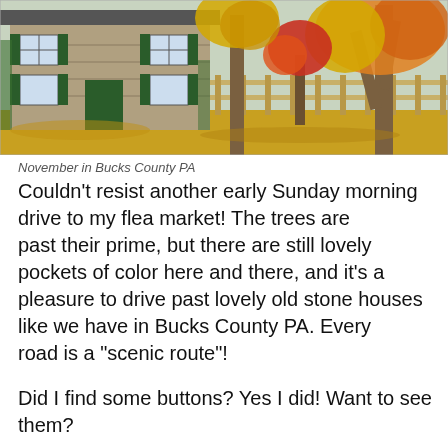[Figure (photo): Autumn scene showing a stone house with green shutters and door on the left, large trees with colorful fall foliage in orange, yellow, and red on the right, with fallen yellow leaves covering the ground. November in Bucks County PA.]
November in Bucks County PA
Couldn't resist another early Sunday morning drive to my flea market!  The trees are past their prime, but there are still lovely pockets of color here and there, and it's a pleasure to drive past lovely old stone houses like we have in Bucks County PA.  Every road is a “scenic route”!
Did I find some buttons?  Yes I did!  Want to see them?
The queen of the group is this Lolita Lempicka button—signed on the back—do you